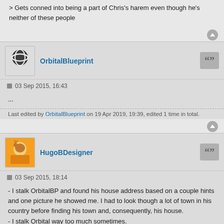> Gets conned into being a part of Chris's harem even though he's neither of these people
OrbitalBlueprint
03 Sep 2015, 16:43
...
Last edited by OrbitalBlueprint on 19 Apr 2019, 19:39, edited 1 time in total.
HugoBDesigner
03 Sep 2015, 18:14
- I stalk OrbitalBP and found his house address based on a couple hints and one picture he showed me. I had to look though a lot of town in his country before finding his town and, consequently, his house.
- I stalk Orbital way too much sometimes.
- I'm straight, but maybe not exactly mentally stable.